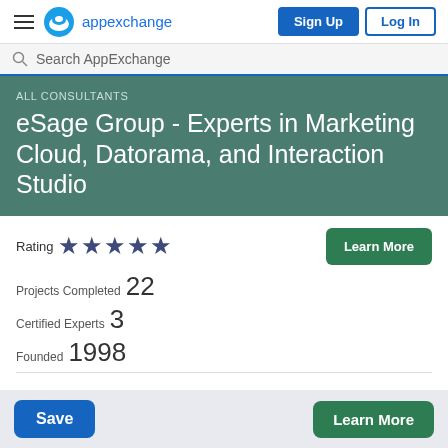Salesforce AppExchange | Sign Up | Log In
Search AppExchange
ALL CONSULTANTS
eSage Group - Experts in Marketing Cloud, Datorama, and Interaction Studio
Rating ★★★★★
Projects Completed 22
Certified Experts 3
Founded 1998
Overview | Expertise | Reviews (11)
Save | Learn More